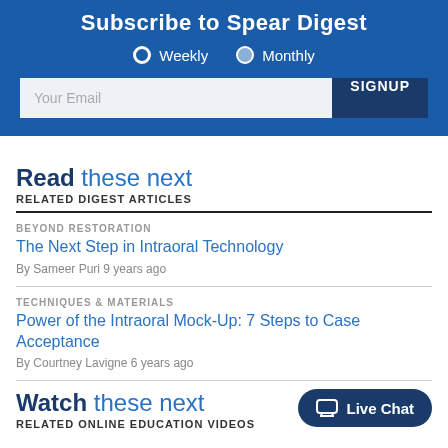Subscribe to Spear Digest
Weekly  Monthly (radio options)
Your Email  SIGNUP
Read these next
RELATED DIGEST ARTICLES
BEYOND RESTORATION
The Next Step in Intraoral Technology
By Sameer Puri 9 years ago
TECHNIQUES & MATERIALS
Power of the Intraoral Mock-Up: 7 Steps to Case Acceptance
By Courtney Lavigne 6 years ago
Watch these next
RELATED ONLINE EDUCATION VIDEOS
Live Chat